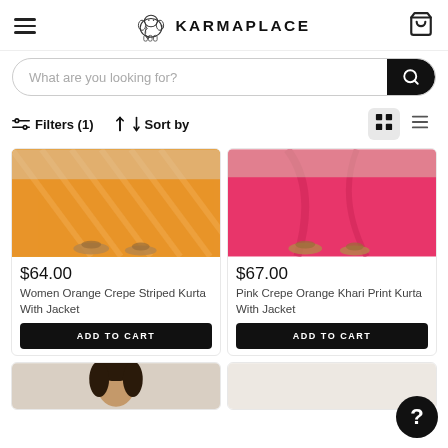KARMAPLACE — Navigation header with hamburger menu, logo, and cart icon
What are you looking for?
Filters (1)   Sort by
[Figure (photo): Partial product image: orange crepe striped kurta skirt portion]
$64.00
Women Orange Crepe Striped Kurta With Jacket
ADD TO CART
[Figure (photo): Partial product image: pink crepe orange khari print kurta skirt portion]
$67.00
Pink Crepe Orange Khari Print Kurta With Jacket
ADD TO CART
[Figure (photo): Partial product image bottom row left: woman's face/upper body visible]
[Figure (photo): Partial product image bottom row right: partial garment visible]